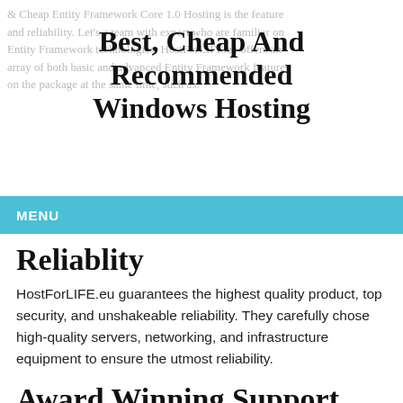& Cheap Entity Framework Core 1.0 Hosting is the feature and reliability. Let's a team with expert who are familiar on Entity Framework technologies. HostForLIFE.eu offers an array of both basic and advanced Entity Framework features on the package at the same time, such as:
Best, Cheap And Recommended Windows Hosting
MENU
Reliablity
HostForLIFE.eu guarantees the highest quality product, top security, and unshakeable reliability. They carefully chose high-quality servers, networking, and infrastructure equipment to ensure the utmost reliability.
Award Winning Support
They hired an army of the best technicians, managers & web hosting gurus. That means clear, professional support, fast. Their team are standing by to respond to your queries